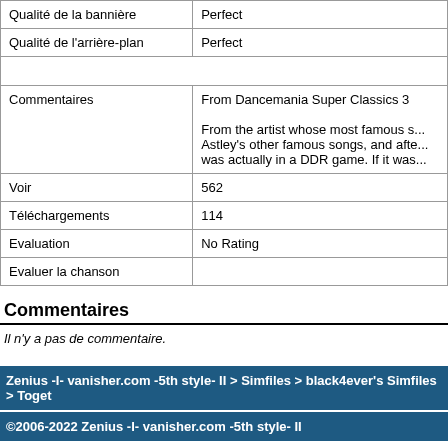| Qualité de la bannière | Perfect |
| Qualité de l'arrière-plan | Perfect |
| Autres infos |  |
| Commentaires | From Dancemania Super Classics 3

From the artist whose most famous s... Astley's other famous songs, and afte... was actually in a DDR game. If it was... |
| Voir | 562 |
| Téléchargements | 114 |
| Evaluation | No Rating |
| Evaluer la chanson |  |
Commentaires
Il n'y a pas de commentaire.
Zenius -I- vanisher.com -5th style- II > Simfiles > black4ever's Simfiles > Toget
©2006-2022 Zenius -I- vanisher.com -5th style- II
Web Server: 1% · Database: 4% · Server Time: 2022-09-06 08:57:41
Page générée en 0.013 secondes.